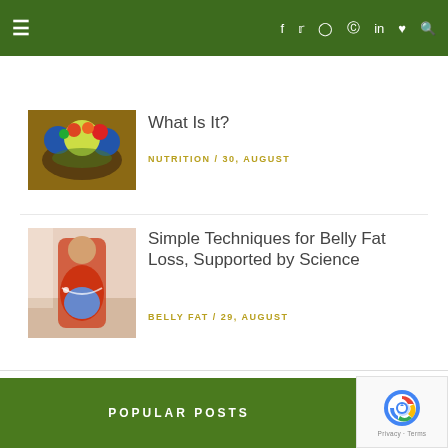Navigation bar with hamburger menu and social icons (facebook, twitter, instagram, pinterest, linkedin, heart, search)
[Figure (photo): Food photo showing dumbbells and colorful fruits/vegetables on a wooden surface]
What Is It?
NUTRITION / 30, AUGUST
[Figure (photo): Person in red top measuring their belly fat in a gym setting]
Simple Techniques for Belly Fat Loss, Supported by Science
BELLY FAT / 29, AUGUST
POPULAR POSTS